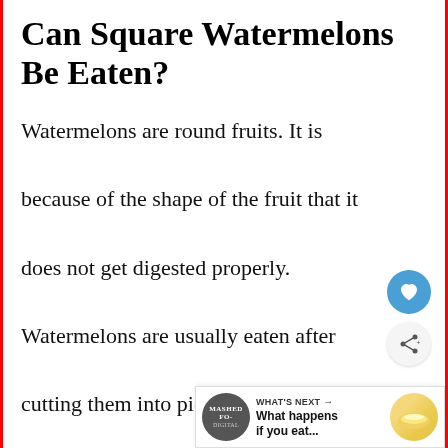Can Square Watermelons Be Eaten?
Watermelons are round fruits. It is because of the shape of the fruit that it does not get digested properly. Watermelons are usually eaten after cutting them into pieces. But if you cut